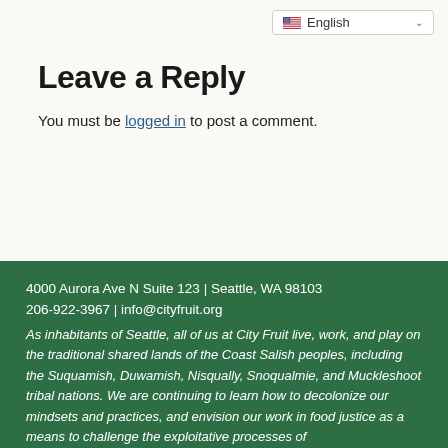English
Leave a Reply
You must be logged in to post a comment.
4000 Aurora Ave N Suite 123 | Seattle, WA 98103
206-922-3967 | info@cityfruit.org
As inhabitants of Seattle, all of us at City Fruit live, work, and play on the traditional shared lands of the Coast Salish peoples, including the Suquamish, Duwamish, Nisqually, Snoqualmie, and Muckleshoot tribal nations. We are continuing to learn how to decolonize our mindsets and practices, and envision our work in food justice as a means to challenge the exploitative processes of